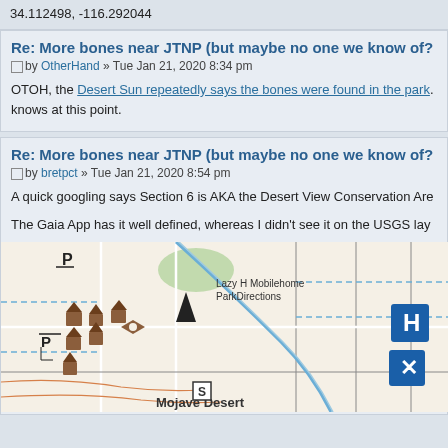34.112498, -116.292044
Re: More bones near JTNP (but maybe no one we know of?
by OtherHand » Tue Jan 21, 2020 8:34 pm
OTOH, the Desert Sun repeatedly says the bones were found in the park. knows at this point.
Re: More bones near JTNP (but maybe no one we know of?
by bretpct » Tue Jan 21, 2020 8:54 pm
A quick googling says Section 6 is AKA the Desert View Conservation Are
The Gaia App has it well defined, whereas I didn't see it on the USGS lay
[Figure (map): A topographic/street map showing Lazy H Mobilehome Park Directions area, Mojave Desert, with road grid, map icons for parking (P), hospital (H), airport (X), and house/community icons in brown. Dashed blue lines and orange contour lines visible.]